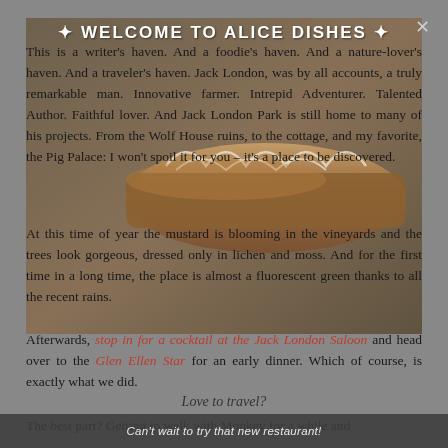WELCOME TO ALICE DISHES
This is a writer's haven. And a foodie's haven. And a nature-lover's haven. And a traveler's haven. Jack London, was by all accounts, a truly remarkable man. Innovative farmer. Intrepid Adventurer. Talented Author. Faithful lover. And Jack London Park is still home to many of his projects. From the Wolf House ruins, to the cottage, and my favorite, the Pig Palace: I won't spoil it for you – it's a place to be discovered.
[Figure (photo): Photo of baked food items, likely a loaf cake with white icing drizzle, overlapping with text]
At this time of year the mustard is blooming in the vineyards and the trees look gorgeous, dressed only in lichen and moss. And for the first time in a long time, the place is almost a fluorescent green thanks to all the recent rains.
Afterwards, stop in for a cocktail at the Jack London Saloon and head over to the Glen Ellen Star for an early dinner. Which of course, is exactly what we did.
Love to travel?
The best part? Getting to walk with Monkey for a while and
Can't wait to try that new restaurant!